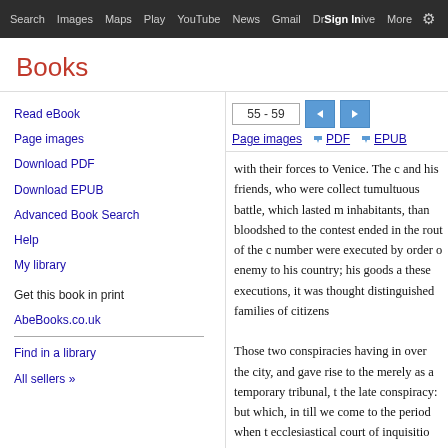Search  Images  Maps  Play  YouTube  News  Gmail  Drive  More  Sign in
Books
Read eBook
Page images
Download PDF
Download EPUB
Advanced Book Search
Help
My library
Get this book in print
AbeBooks.co.uk
Find in a library
All sellers »
55 - 59
Page images  ↓ PDF  ↓ EPUB
with their forces to Venice. The c and his friends, who were collect tumultuous battle, which lasted m inhabitants, than bloodshed to the contest ended in the rout of the c number were executed by order o enemy to his country; his goods a these executions, it was thought distinguished families of citizens Those two conspiracies having in over the city, and gave rise to the merely as a temporary tribunal, t the late conspiracy: but which, in till we come to the period when t ecclesiastical court of inquisitio